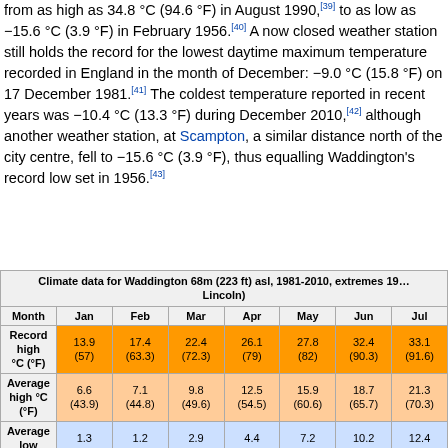from as high as 34.8 °C (94.6 °F) in August 1990,[39] to as low as −15.6 °C (3.9 °F) in February 1956.[40] A now closed weather station still holds the record for the lowest daytime maximum temperature recorded in England in the month of December: −9.0 °C (15.8 °F) on 17 December 1981.[41] The coldest temperature reported in recent years was −10.4 °C (13.3 °F) during December 2010,[42] although another weather station, at Scampton, a similar distance north of the city centre, fell to −15.6 °C (3.9 °F), thus equalling Waddington's record low set in 1956.[43]
| Month | Jan | Feb | Mar | Apr | May | Jun | Jul |
| --- | --- | --- | --- | --- | --- | --- | --- |
| Record high °C (°F) | 13.9 (57) | 17.4 (63.3) | 22.4 (72.3) | 26.1 (79) | 27.8 (82) | 32.4 (90.3) | 33.1 (91.6) |
| Average high °C (°F) | 6.6 (43.9) | 7.1 (44.8) | 9.8 (49.6) | 12.5 (54.5) | 15.9 (60.6) | 18.7 (65.7) | 21.3 (70.3) |
| Average low °C (°F) | 1.3 (34.3) | 1.2 (34.2) | 2.9 (37.2) | 4.4 (39.9) | 7.2 (45) | 10.2 (50.4) | 12.4 (54.3) |
| Record low °C (°F) | −13.8 (7.2) | −15.6 (3.9) | −11.1 (12) | −4.7 (23.5) | −2.0 (28.4) | 0.0 (32) | 3.3 (37.9) |
| Average precipitation | 50.2 | 36.8 | 41.6 | 46.6 | 48.1 | 57.4 | 58.9 |